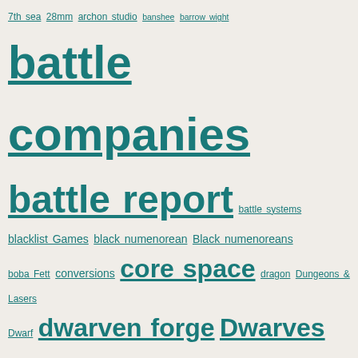Tag cloud containing: 7th sea, 28mm, archon studio, banshee, barrow wight, battle companies, battle report, battle systems, blacklist Games, black numenorean, Black numenoreans, boba Fett, conversions, core space, dragon, Dungeons & Lasers, Dwarf, dwarven forge, Dwarves, elves, expanse, Fallout, Fear the walking dead, frodo, frostgrave, galadhrim, Galadriel, games workshop, gifts, Gnomes, Goblins, gripping beast, Hagglethorn hollow, honor harrington, Lord of the Rings, mantic, mars attacks, mesbg, Middle Earth, Monster Fight club, Napoleonic, Orcs, outlaws, pegasus hobbies, picard, proxies, proxy, reaper, Reaper bones, review, roads, Rohan, Ruffians, ruins, silver Bayonet, Skeletons, specter, Spiders, star trek, star wars, tarnished splendor, terrain, the rookie, trees, Tutorial, twilight 49, uruk-hai, Walking dead, wargames atlantic